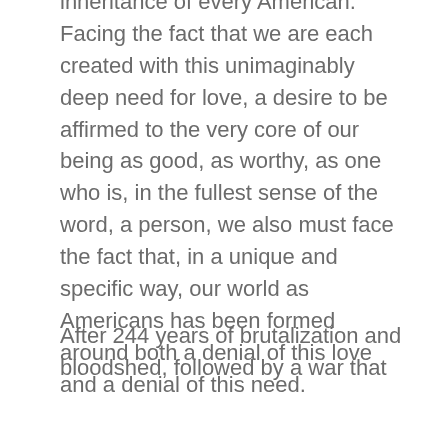inheritance of every American. Facing the fact that we are each created with this unimaginably deep need for love, a desire to be affirmed to the very core of our being as good, as worthy, as one who is, in the fullest sense of the word, a person, we also must face the fact that, in a unique and specific way, our world as Americans has been formed around both a denial of this love and a denial of this need.
After 244 years of brutalization and bloodshed, followed by a war that